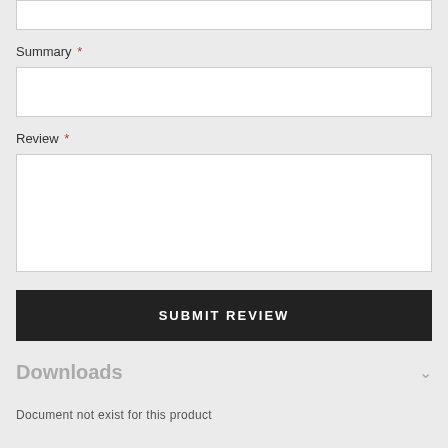Summary *
Review *
SUBMIT REVIEW
Downloads
Document not exist for this product